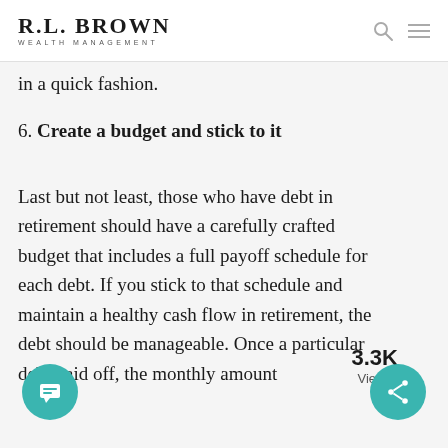R.L. BROWN WEALTH MANAGEMENT
in a quick fashion.
6. Create a budget and stick to it
Last but not least, those who have debt in retirement should have a carefully crafted budget that includes a full payoff schedule for each debt. If you stick to that schedule and maintain a healthy cash flow in retirement, the debt should be manageable. Once a particular debt paid off, the monthly amount